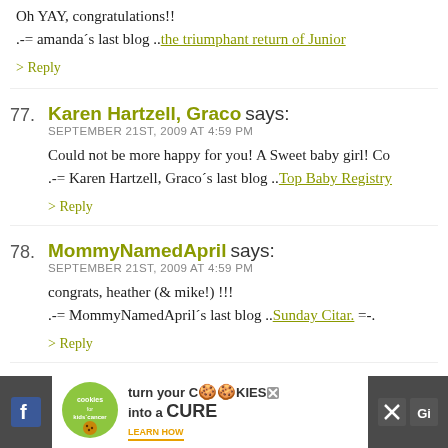Oh YAY, congratulations!!
.-= amanda´s last blog ..the triumphant return of Junior
> Reply
77. Karen Hartzell, Graco says: SEPTEMBER 21ST, 2009 AT 4:59 PM
Could not be more happy for you! A Sweet baby girl! Co
.-= Karen Hartzell, Graco´s last blog ..Top Baby Registry
> Reply
78. MommyNamedApril says: SEPTEMBER 21ST, 2009 AT 4:59 PM
congrats, heather (& mike!) !!!
.-= MommyNamedApril´s last blog ..Sunday Citar. =-.
> Reply
79. anna says: SEPTEMBER 21ST, 2009 AT 5:00 PM
[Figure (other): Advertisement banner: cookies for kids cancer - turn your cookies into a CURE LEARN HOW]